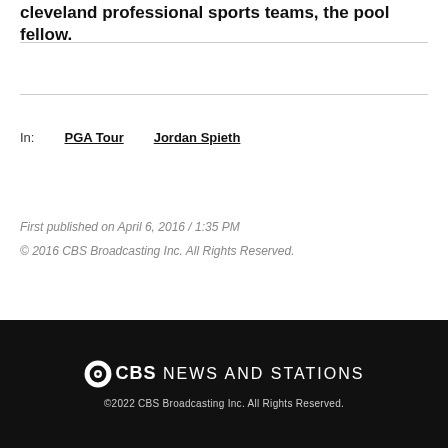cleveland professional sports teams, the pool fellow.
In:  PGA Tour  Jordan Spieth
First published on April 6, 2016 / 1:35 PM
© 2016 CBS Broadcasting Inc. All Rights Reserved.
©CBS NEWS AND STATIONS
©2022 CBS Broadcasting Inc. All Rights Reserved.